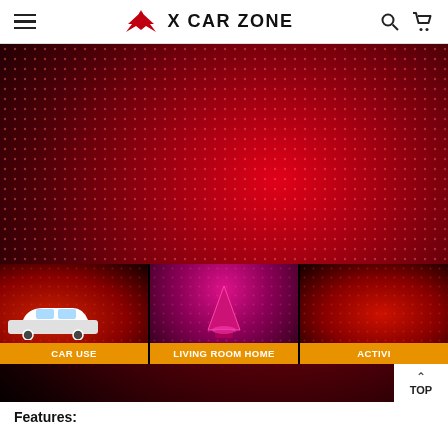X CAR ZONE — navigation header with hamburger menu, logo, search and cart icons
[Figure (photo): Red laser/LED star projector light illuminating a car interior ceiling with a dot matrix pattern. Below are three thumbnail images: 1) car interior with red dot light projection labeled CAR USE, 2) pink/red cone-shaped USB projector light labeled LIVING ROOM HOME, 3) red dot projection on surface labeled ACTIVI[TIES]. A white TOP button with upward chevron is in the bottom right corner.]
Features: